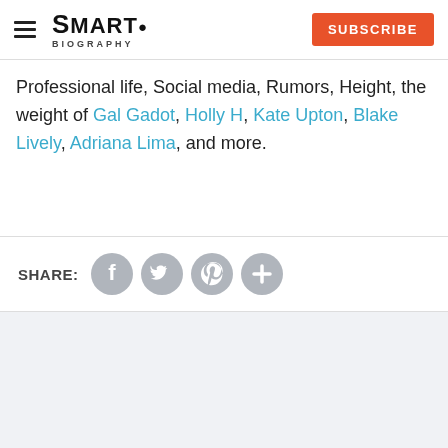SMARTO BIOGRAPHY | SUBSCRIBE
Professional life, Social media, Rumors, Height, the weight of Gal Gadot, Holly H, Kate Upton, Blake Lively, Adriana Lima, and more.
[Figure (illustration): Social media share icons: Facebook, Twitter, Pinterest, and a plus/more button, with SHARE: label]